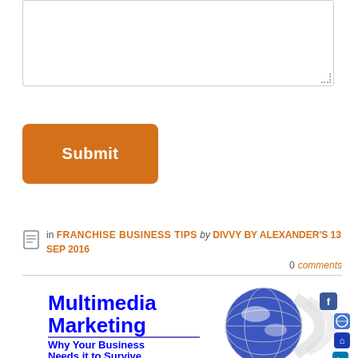[Figure (screenshot): Text input textarea box with resize handle at bottom right]
[Figure (screenshot): Orange rounded Submit button]
in FRANCHISE BUSINESS TIPS by DIVVY BY ALEXANDER'S 13 SEP 2016  0 comments
[Figure (illustration): Article preview image showing 'Multimedia Marketing - Why Your Business Needs it to Survive' with a globe and social media icons arranged in an arc]